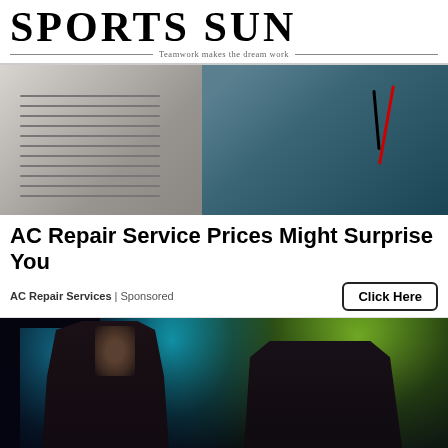SPORTS SUN — Teamwork makes the dream work
[Figure (photo): AC unit repair — technician hands working on an air conditioner with wiring, close-up photo]
AC Repair Service Prices Might Surprise You
AC Repair Services | Sponsored
Click Here
[Figure (photo): Concert photo of two rock musicians performing on stage with colorful stage lighting (cyan and green spotlights), one singing and one playing guitar]